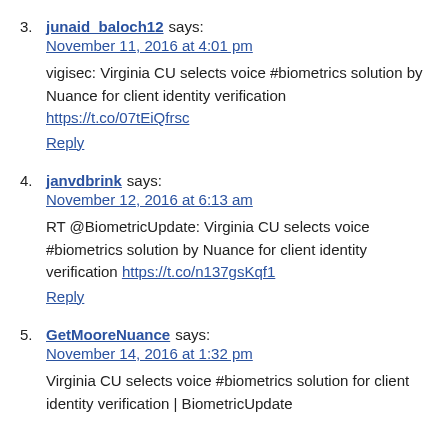3. junaid_baloch12 says: November 11, 2016 at 4:01 pm
vigisec: Virginia CU selects voice #biometrics solution by Nuance for client identity verification https://t.co/07tEiQfrsc
Reply
4. janvdbrink says: November 12, 2016 at 6:13 am
RT @BiometricUpdate: Virginia CU selects voice #biometrics solution by Nuance for client identity verification https://t.co/n137gsKqf1
Reply
5. GetMooreNuance says: November 14, 2016 at 1:32 pm
Virginia CU selects voice #biometrics solution for client identity verification | BiometricUpdate